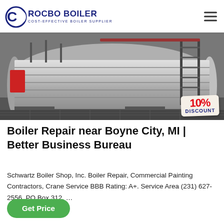ROCBO BOILER — COST-EFFECTIVE BOILER SUPPLIER
[Figure (photo): Industrial horizontal boiler tank with scaffolding/ladder structure, pipes, and machinery in a factory setting. A 10% DISCOUNT badge is overlaid in the bottom-right corner.]
Boiler Repair near Boyne City, MI | Better Business Bureau
Schwartz Boiler Shop, Inc. Boiler Repair, Commercial Painting Contractors, Crane Service BBB Rating: A+. Service Area (231) 627-2556. PO Box 312, …
Get Price